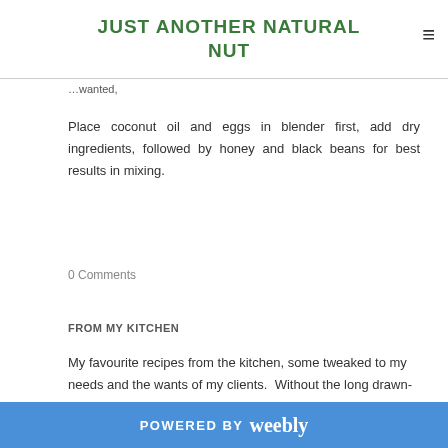JUST ANOTHER NATURAL NUT
……wanted,
Place coconut oil and eggs in blender first, add dry ingredients, followed by honey and black beans for best results in mixing.
0 Comments
FROM MY KITCHEN
My favourite recipes from the kitchen, some tweaked to my needs and the wants of my clients.  Without the long drawn-
POWERED BY weebly